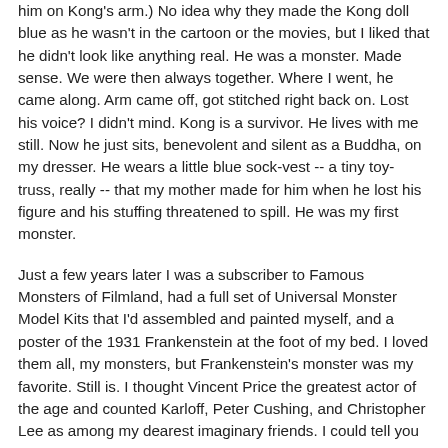him on Kong's arm.) No idea why they made the Kong doll blue as he wasn't in the cartoon or the movies, but I liked that he didn't look like anything real. He was a monster. Made sense. We were then always together. Where I went, he came along. Arm came off, got stitched right back on. Lost his voice? I didn't mind. Kong is a survivor. He lives with me still. Now he just sits, benevolent and silent as a Buddha, on my dresser. He wears a little blue sock-vest -- a tiny toy-truss, really -- that my mother made for him when he lost his figure and his stuffing threatened to spill. He was my first monster.
Just a few years later I was a subscriber to Famous Monsters of Filmland, had a full set of Universal Monster Model Kits that I'd assembled and painted myself, and a poster of the 1931 Frankenstein at the foot of my bed. I loved them all, my monsters, but Frankenstein's monster was my favorite. Still is. I thought Vincent Price the greatest actor of the age and counted Karloff, Peter Cushing, and Christopher Lee as among my dearest imaginary friends. I could tell you more about Bela Lugosi's filmography, and or the process employed in Jack Pierce's best make-ups, than I could about the history of the American Civil War, the illustrators of the